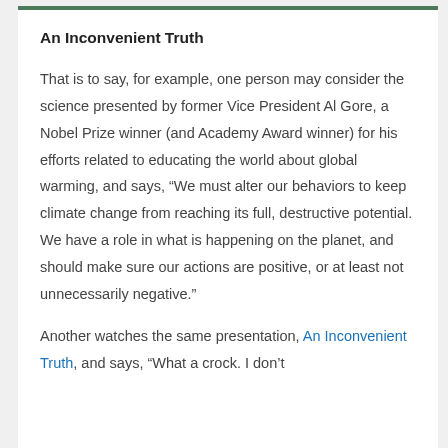An Inconvenient Truth
That is to say, for example, one person may consider the science presented by former Vice President Al Gore, a Nobel Prize winner (and Academy Award winner) for his efforts related to educating the world about global warming, and says, “We must alter our behaviors to keep climate change from reaching its full, destructive potential. We have a role in what is happening on the planet, and should make sure our actions are positive, or at least not unnecessarily negative.”
Another watches the same presentation, An Inconvenient Truth, and says, “What a crock. I don’t